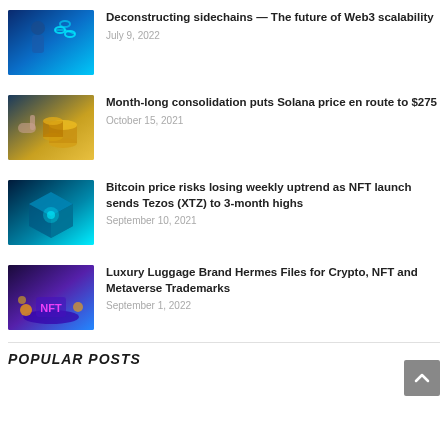[Figure (photo): Illustration of a figure shooting chains – blockchain/sidechain concept, blue tones]
Deconstructing sidechains – The future of Web3 scalability
July 9, 2022
[Figure (photo): Illustration of a hand pointing at stacks of gold coins]
Month-long consolidation puts Solana price en route to $275
October 15, 2021
[Figure (photo): Abstract digital cube/block illustration in teal/cyan tones – crypto/NFT concept]
Bitcoin price risks losing weekly uptrend as NFT launch sends Tezos (XTZ) to 3-month highs
September 10, 2021
[Figure (photo): Illustration of NFT text on a glowing platform with crypto coins, blue/purple tones]
Luxury Luggage Brand Hermes Files for Crypto, NFT and Metaverse Trademarks
September 1, 2022
POPULAR POSTS